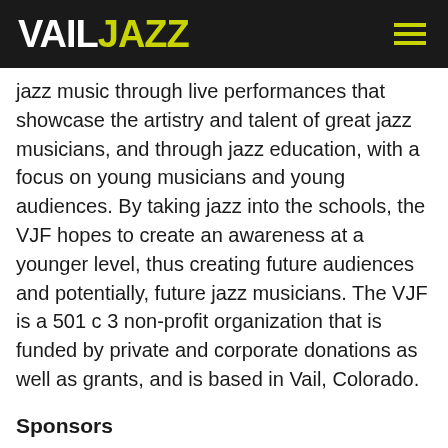VAIL JAZZ
jazz music through live performances that showcase the artistry and talent of great jazz musicians, and through jazz education, with a focus on young musicians and young audiences. By taking jazz into the schools, the VJF hopes to create an awareness at a younger level, thus creating future audiences and potentially, future jazz musicians. The VJF is a 501 c 3 non-profit organization that is funded by private and corporate donations as well as grants, and is based in Vail, Colorado.
Sponsors
The Vail Jazz Festival is generously sponsored by Alpine Bank, Colorado Council on the Arts, National Endowment